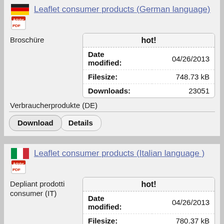Leaflet consumer products (German language)
Broschüre
|  |  |
| --- | --- |
| hot! |  |
| Date modified: | 04/26/2013 |
| Filesize: | 748.73 kB |
| Downloads: | 23051 |
Verbraucherprodukte (DE)
Download   Details
Leaflet consumer products (Italian language )
Depliant prodotti consumer (IT)
|  |  |
| --- | --- |
| hot! |  |
| Date modified: | 04/26/2013 |
| Filesize: | 780.37 kB |
| Downloads: | 19713 |